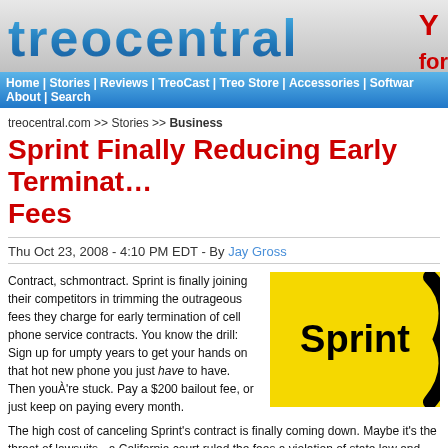[Figure (logo): Treocentral website logo on grey gradient background with blue stylized text]
Home | Stories | Reviews | TreoCast | Treo Store | Accessories | Software | About | Search
treocentral.com >> Stories >> Business
Sprint Finally Reducing Early Termination Fees
Thu Oct 23, 2008 - 4:10 PM EDT - By Jay Gross
Contract, schmontract. Sprint is finally joining their competitors in trimming the outrageous fees they charge for early termination of cell phone service contracts. You know the drill: Sign up for umpty years to get your hands on that hot new phone you just have to have. Then youÀ're stuck. Pay a $200 bailout fee, or just keep on paying every month.
[Figure (logo): Sprint logo on yellow background with black swoosh curves]
The high cost of canceling Sprint's contract is finally coming down. Maybe it's the threat of lawsuits - a California court ruled the fees a violation of state law and ordered Sprint to refund more than $73 million to customers. Shortly before that, Verizon W...